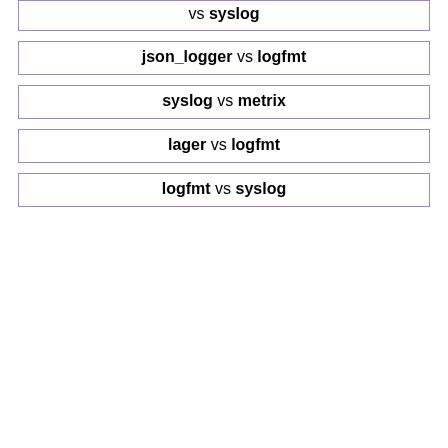vs
syslog
json_logger
vs
logfmt
syslog
vs
metrix
lager
vs
logfmt
logfmt
vs
syslog